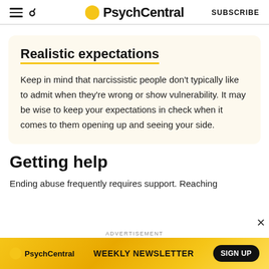PsychCentral | SUBSCRIBE
Realistic expectations
Keep in mind that narcissistic people don’t typically like to admit when they’re wrong or show vulnerability. It may be wise to keep your expectations in check when it comes to them opening up and seeing your side.
Getting help
Ending abuse frequently requires support. Reaching
ADVERTISEMENT
[Figure (other): PsychCentral Weekly Newsletter advertisement banner with sign up button on yellow/orange gradient background]